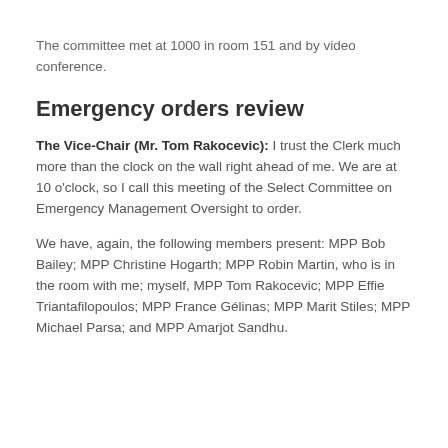The committee met at 1000 in room 151 and by video conference.
Emergency orders review
The Vice-Chair (Mr. Tom Rakocevic): I trust the Clerk much more than the clock on the wall right ahead of me. We are at 10 o'clock, so I call this meeting of the Select Committee on Emergency Management Oversight to order.
We have, again, the following members present: MPP Bob Bailey; MPP Christine Hogarth; MPP Robin Martin, who is in the room with me; myself, MPP Tom Rakocevic; MPP Effie Triantafilopoulos; MPP France Gélinas; MPP Marit Stiles; MPP Michael Parsa; and MPP Amarjot Sandhu.